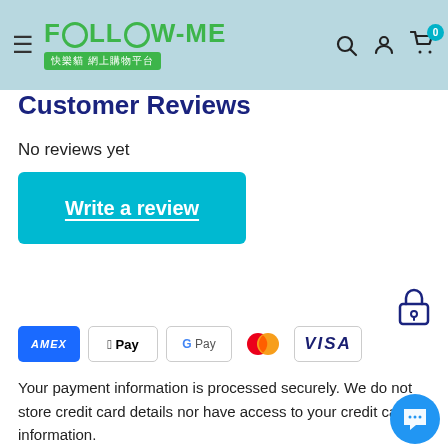[Figure (logo): Follow-Me 快樂貓網上購物平台 logo with navigation bar icons (hamburger, search, user, cart with badge 0)]
Customer Reviews
No reviews yet
Write a review
[Figure (illustration): Lock/security icon]
[Figure (infographic): Payment method icons: AMEX, Apple Pay, Google Pay, Mastercard, VISA]
Your payment information is processed securely. We do not store credit card details nor have access to your credit card information.